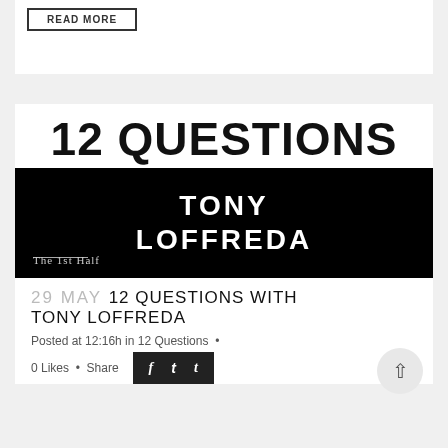[Figure (other): READ MORE button in a bordered rectangle]
12 QUESTIONS
[Figure (other): Black banner with white bold text 'TONY LOFFREDA' and subtitle 'The 1st Half' with a horizontal line]
29 MAY 12 QUESTIONS WITH TONY LOFFREDA
Posted at 12:16h in 12 Questions •
0 Likes • Share